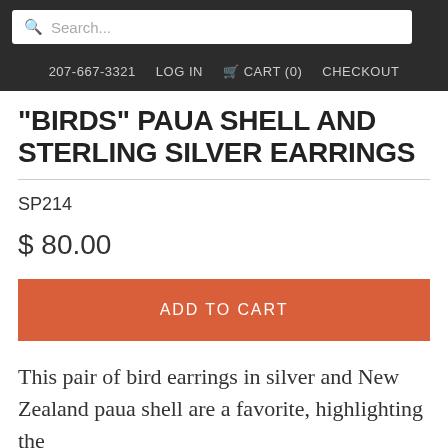Search... | 207-667-3321 | LOG IN | CART (0) | CHECKOUT
"BIRDS" PAUA SHELL AND STERLING SILVER EARRINGS
SP214
$ 80.00
ADD TO CART
This pair of bird earrings in silver and New Zealand paua shell are a favorite, highlighting the